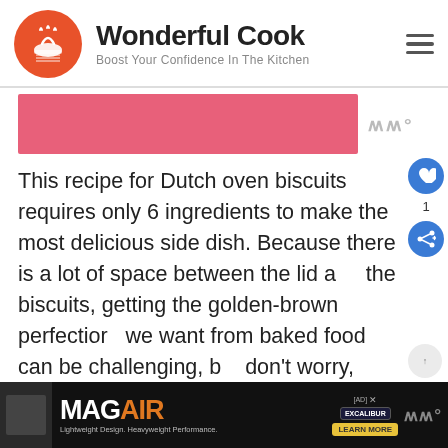Wonderful Cook — Boost Your Confidence In The Kitchen
[Figure (illustration): Pink banner/hero image area (cropped), with Mediawiki logo on right]
This recipe for Dutch oven biscuits requires only 6 ingredients to make the most delicious side dish. Because there is a lot of space between the lid and the biscuits, getting the golden-brown perfection we want from baked food can be challenging, but don't worry, they'll taste just as good. Serve with soups and stews for a filling meal.
[Figure (infographic): WHAT'S NEXT → 22 French Side Dishes... thumbnail panel]
[Figure (screenshot): Bottom advertisement banner: MAG AIR — Lightweight Design. Heavyweight Performance. Excalibur. LEARN MORE.]